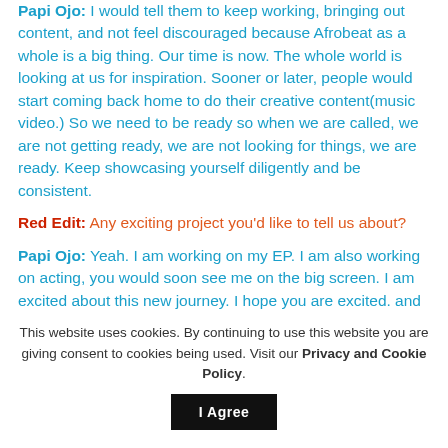Papi Ojo: I would tell them to keep working, bringing out content, and not feel discouraged because Afrobeat as a whole is a big thing. Our time is now. The whole world is looking at us for inspiration. Sooner or later, people would start coming back home to do their creative content(music video.) So we need to be ready so when we are called, we are not getting ready, we are not looking for things, we are ready. Keep showcasing yourself diligently and be consistent.
Red Edit: Any exciting project you'd like to tell us about?
Papi Ojo: Yeah. I am working on my EP. I am also working on acting, you would soon see me on the big screen. I am excited about this new journey. I hope you are excited. and
This website uses cookies. By continuing to use this website you are giving consent to cookies being used. Visit our Privacy and Cookie Policy.